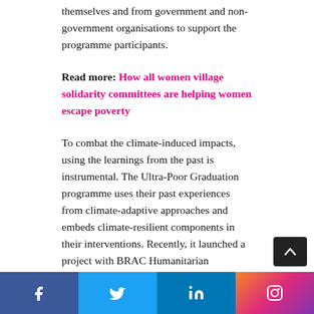themselves and from government and non-government organisations to support the programme participants.
Read more: How all women village solidarity committees are helping women escape poverty
To combat the climate-induced impacts, using the learnings from the past is instrumental. The Ultra-Poor Graduation programme uses their past experiences from climate-adaptive approaches and embeds climate-resilient components in their interventions. Recently, it launched a project with BRAC Humanitarian Programme, funded by the Climate Bridge Fund, to strengthen the socio-economic and climate resilience of 600 people displaced...
Facebook Twitter LinkedIn Instagram